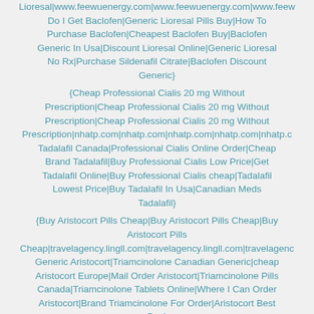Lioresal|www.feewuenergy.com|www.feewuenergy.com|www.feewuenergy.com|Do I Get Baclofen|Generic Lioresal Pills Buy|How To Purchase Baclofen|Cheapest Baclofen Buy|Baclofen Generic In Usa|Discount Lioresal Online|Generic Lioresal No Rx|Purchase Sildenafil Citrate|Baclofen Discount Generic}
{Cheap Professional Cialis 20 mg Without Prescription|Cheap Professional Cialis 20 mg Without Prescription|Cheap Professional Cialis 20 mg Without Prescription|nhatp.com|nhatp.com|nhatp.com|nhatp.com|nhatp.com|Tadalafil Canada|Professional Cialis Online Order|Cheap Brand Tadalafil|Buy Professional Cialis Low Price|Get Tadalafil Online|Buy Professional Cialis cheap|Tadalafil Lowest Price|Buy Tadalafil In Usa|Canadian Meds Tadalafil}
{Buy Aristocort Pills Cheap|Buy Aristocort Pills Cheap|Buy Aristocort Pills Cheap|travelagency.lingll.com|travelagency.lingll.com|travelagency.lingll.com|Generic Aristocort|Triamcinolone Canadian Generic|cheap Aristocort Europe|Mail Order Aristocort|Triamcinolone Pills Canada|Triamcinolone Tablets Online|Where I Can Order Aristocort|Brand Triamcinolone For Order|Aristocort Best Buy}